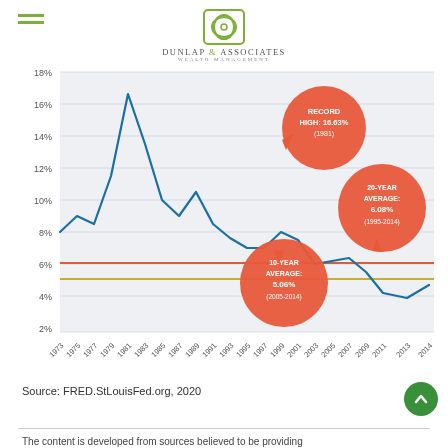Dunlap & Associates Wealth Management
[Figure (line-chart): Historical Interest Rates 1973-2014]
Source: FRED.StLouisFed.org, 2020
The content is developed from sources believed to be providing